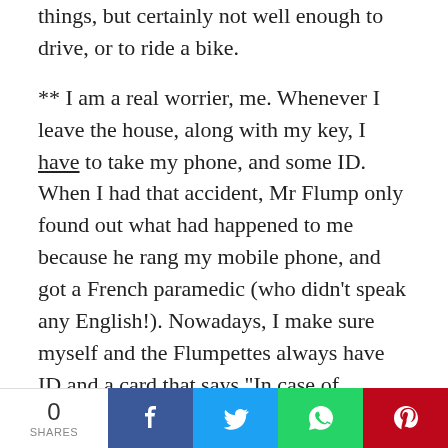things, but certainly not well enough to drive, or to ride a bike.
** I am a real worrier, me. Whenever I leave the house, along with my key, I have to take my phone, and some ID. When I had that accident, Mr Flump only found out what had happened to me because he rang my mobile phone, and got a French paramedic (who didn't speak any English!). Nowadays, I make sure myself and the Flumpettes always have ID and a card that says "In case of emergency, please phone ...". I have not been able to convince Mr Flump to do
0 SHARES | Facebook | Twitter | WhatsApp | Pinterest